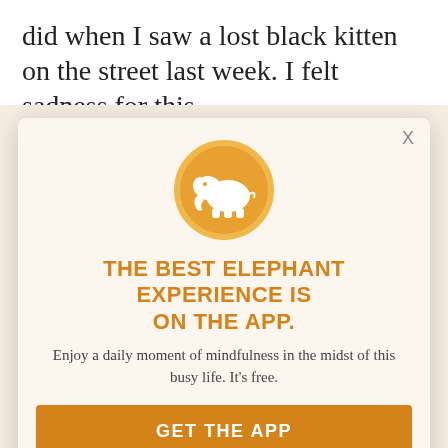did when I saw a lost black kitten on the street last week. I felt sadness for this
stranger. It was a feeling of concern and a desire to comfort. It was a gentle ping inside my head, which filled my eyes. My thumb stopped on the screen, transfixed. reach out can sometimes I tapped. "We am feeling it now too. Is there just one thing you can do think of the couch? always helps and people are
[Figure (logo): Orange circle with white elephant silhouette — Elephant app logo]
THE BEST ELEPHANT EXPERIENCE IS ON THE APP.
Enjoy a daily moment of mindfulness in the midst of this busy life. It's free.
GET THE APP
OPEN IN APP